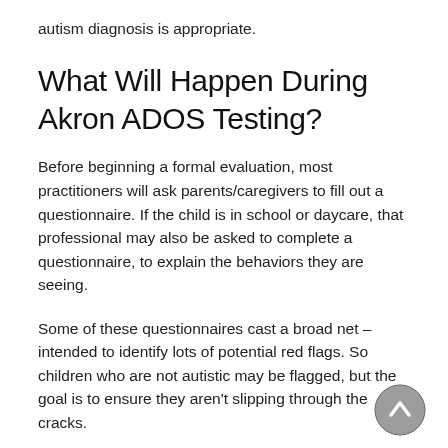autism diagnosis is appropriate.
What Will Happen During Akron ADOS Testing?
Before beginning a formal evaluation, most practitioners will ask parents/caregivers to fill out a questionnaire. If the child is in school or daycare, that professional may also be asked to complete a questionnaire, to explain the behaviors they are seeing.
Some of these questionnaires cast a broad net – intended to identify lots of potential red flags. So children who are not autistic may be flagged, but the goal is to ensure they aren't slipping through the cracks.
The more comprehensive evaluation will be tailored to the child's age and skill level. Akron ADOS testing for